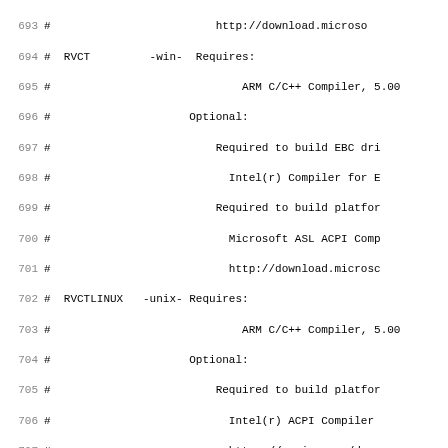Code listing lines 693-725, showing build tool chain configuration comments in a Makefile or similar build script. Topics include RVCT (Windows), RVCTLINUX (Unix), Supported Tool Chain Family (MSFT, GCC, INTEL, RVCT), and Other Supported Tools (NASM).